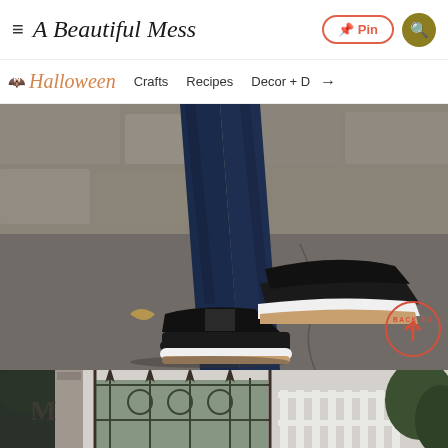A Beautiful Mess
[Figure (screenshot): Website navigation bar with hamburger menu, A Beautiful Mess logo, Pinterest Pin button, and search button]
[Figure (photo): Close-up photo of person wearing dark blue skinny jeans and black leather slip-on sneakers with white soles, stepping on a sidewalk]
[Figure (photo): Photo of an ornate black iron gate with scrollwork and white fence, with green foliage in background]